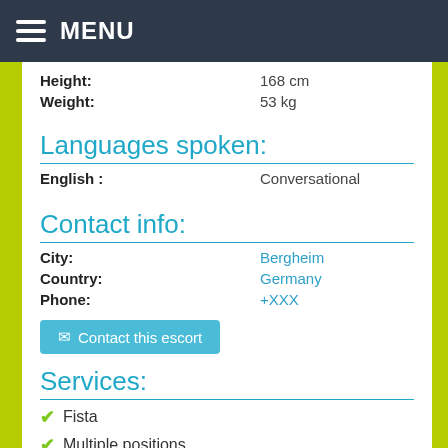MENU
Height: 168 cm
Weight: 53 kg
Languages spoken:
English : Conversational
Contact info:
City: Bergheim
Country: Germany
Phone: +XXX
Contact this escort
Services:
Fista
Multiple positions